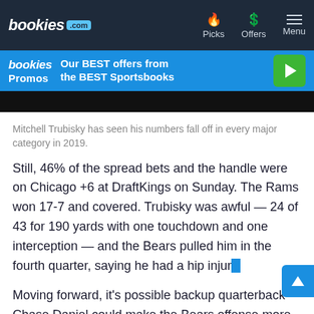bookies.com — Picks | Offers | Menu
[Figure (screenshot): Bookies Promos banner: Our BEST offers from the BEST Sportsbooks with green play button]
[Figure (photo): Dark image strip, partial photo visible]
Mitchell Trubisky has seen his numbers fall off in every major category in 2019.
Still, 46% of the spread bets and the handle were on Chicago +6 at DraftKings on Sunday. The Rams won 17-7 and covered. Trubisky was awful — 24 of 43 for 190 yards with one touchdown and one interception — and the Bears pulled him in the fourth quarter, saying he had a hip injury.
Moving forward, it's possible backup quarterback Chase Daniel could make the Bears offense more effective, but there's still no reason to trust this team unless they play a